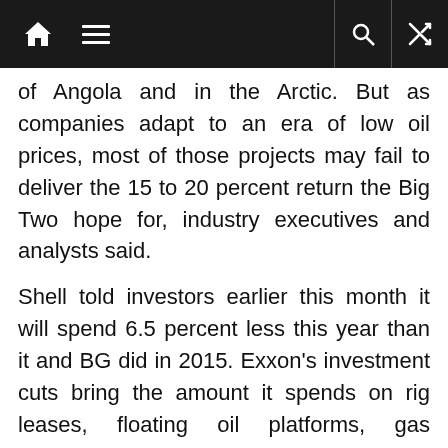Navigation bar with home, menu, search, and shuffle icons
of Angola and in the Arctic. But as companies adapt to an era of low oil prices, most of those projects may fail to deliver the 15 to 20 percent return the Big Two hope for, industry executives and analysts said.
Shell told investors earlier this month it will spend 6.5 percent less this year than it and BG did in 2015. Exxon's investment cuts bring the amount it spends on rig leases, floating oil platforms, gas terminals and other projects to a 10-year low.
‘Best Company’
Oil executives, who are gathered this week at the annual IHS CERAWeek conference in Houston, still believe that size matters.